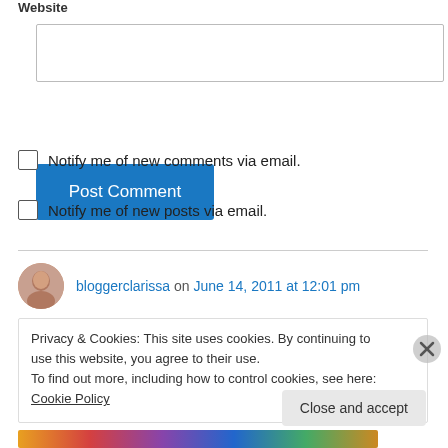Website
[Figure (screenshot): Empty text input box for website URL]
[Figure (screenshot): Blue 'Post Comment' button]
Notify me of new comments via email.
Notify me of new posts via email.
bloggerclarissa on June 14, 2011 at 12:01 pm
Privacy & Cookies: This site uses cookies. By continuing to use this website, you agree to their use.
To find out more, including how to control cookies, see here: Cookie Policy
Close and accept